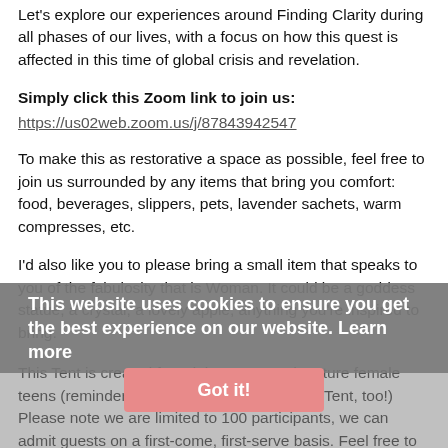Let's explore our experiences around Finding Clarity during all phases of our lives, with a focus on how this quest is affected in this time of global crisis and revelation.
Simply click this Zoom link to join us:
https://us02web.zoom.us/j/87843942547
To make this as restorative a space as possible, feel free to join us surrounded by any items that bring you comfort: food, beverages, slippers, pets, lavender sachets, warm compresses, etc.
I'd also like you to please bring a small item that speaks to you of the fabulosity that is Woman. It could be a goddess statue, a crystal, a lovely apple, anything you're inspired to bring.
This Tent is created for adult women and mature female teens (reminder: Trans sisters, this is YOUR Tent, too!) Please note we are limited to 100 participants, we can admit guests on a first-come, first-serve basis. Feel free to share this invite around!!!
We hold confidentiality to be sacred; that being said, this is the Internet, so please keep in mind the limits of true confidentiality and anonymity when you are attending/speaking. We will not be
This website uses cookies to ensure you get the best experience on our website. Learn more
Got it!